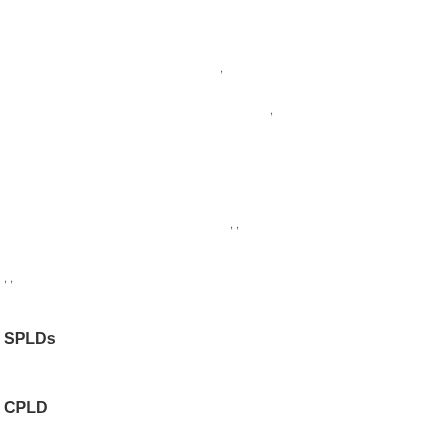,
,
, ,
, ,
SPLDs
CPLD
FPGA
/
/ , ( ),
,